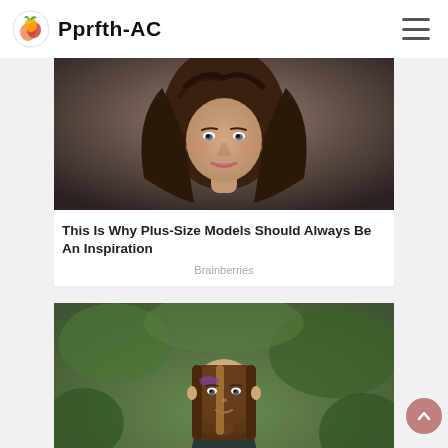Pprfth-AC
[Figure (photo): Portrait photo of a young woman with long wavy brown hair on a dark background]
This Is Why Plus-Size Models Should Always Be An Inspiration
Brainberries
[Figure (photo): Photo of a young girl with straight brown hair wearing a dark outfit in an outdoor natural setting]